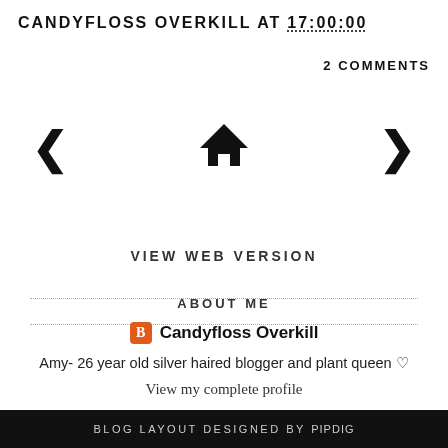CANDYFLOSS OVERKILL AT 17:00:00
2 COMMENTS
[Figure (other): Navigation icons: left arrow, home icon, right arrow]
VIEW WEB VERSION
ABOUT ME
Candyfloss Overkill
Amy- 26 year old silver haired blogger and plant queen ♡
View my complete profile
© 2022 CandyflossOverkill
BLOG LAYOUT DESIGNED BY pipdig